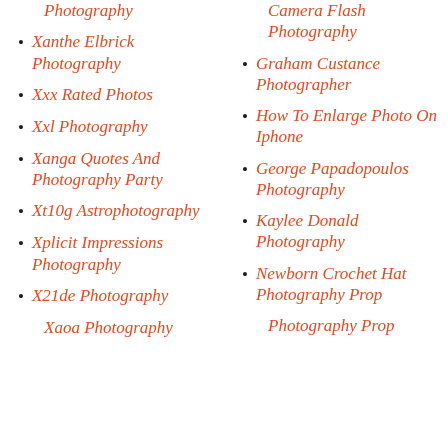Photography
Xanthe Elbrick Photography
Xxx Rated Photos
Xxl Photography
Xanga Quotes And Photography Party
Xt10g Astrophotography
Xplicit Impressions Photography
X21de Photography
Xaoa Photography
Camera Flash Photography
Graham Custance Photographer
How To Enlarge Photo On Iphone
George Papadopoulos Photography
Kaylee Donald Photography
Newborn Crochet Hat Photography Prop
Photography Prop